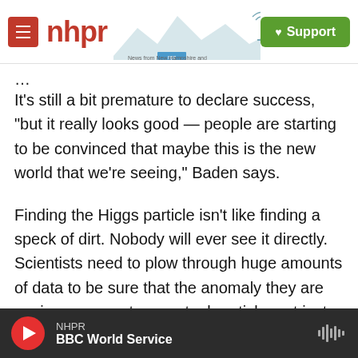NHPR — News from New Hampshire and NPR | Support
It's still a bit premature to declare success, "but it really looks good — people are starting to be convinced that maybe this is the new world that we're seeing," Baden says.
Finding the Higgs particle isn't like finding a speck of dirt. Nobody will ever see it directly. Scientists need to plow through huge amounts of data to be sure that the anomaly they are seeing represents an actual particle, not just fluky coincidences.
But the way things look now, sometime this year
NHPR — BBC World Service